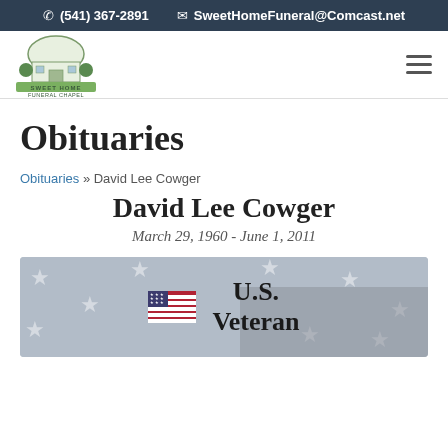(541) 367-2891   SweetHomeFuneral@Comcast.net
[Figure (logo): Sweet Home Funeral Chapel logo with building illustration]
Obituaries
Obituaries » David Lee Cowger
David Lee Cowger
March 29, 1960 - June 1, 2011
[Figure (illustration): U.S. flag background with American flag emoji and text reading U.S. Veteran]